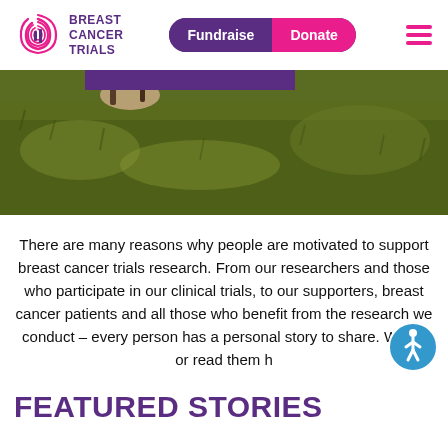Breast Cancer Trials — Fundraise | Donate
[Figure (photo): Cropped photo showing feet with sandals walking on green grass, outdoor setting]
There are many reasons why people are motivated to support breast cancer trials research. From our researchers and those who participate in our clinical trials, to our supporters, breast cancer patients and all those who benefit from the research we conduct – every person has a personal story to share. Watch or read them h
FEATURED STORIES